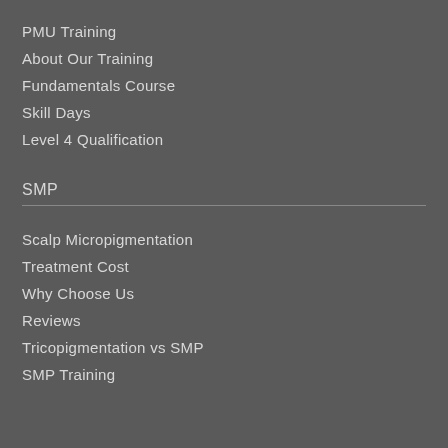PMU Training
About Our Training
Fundamentals Course
Skill Days
Level 4 Qualification
SMP
Scalp Micropigmentation
Treatment Cost
Why Choose Us
Reviews
Tricopigmentation vs SMP
SMP Training